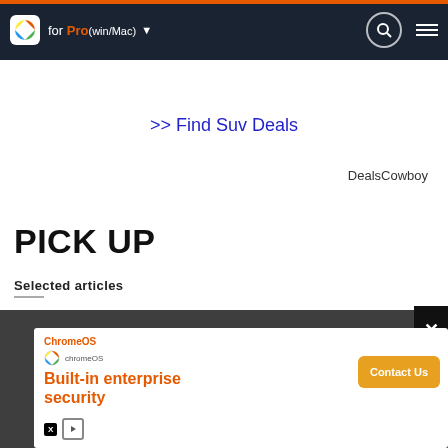for Pro (Win/Mac)
>> Find Suv Deals
DealsCowboy
PICK UP
Selected articles
[Figure (screenshot): ChromeOS advertisement popup with orange text 'Built-in enterprise security', ChromeOS logo, and 'Contact Us' button]
Useful for backgrounds and